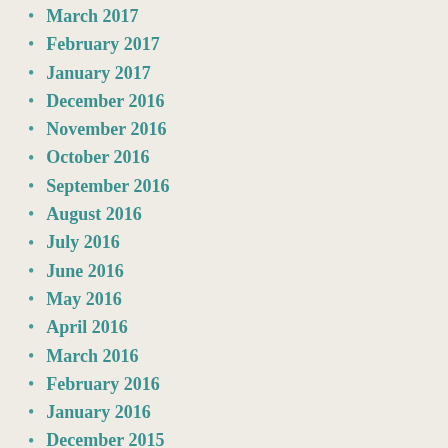March 2017
February 2017
January 2017
December 2016
November 2016
October 2016
September 2016
August 2016
July 2016
June 2016
May 2016
April 2016
March 2016
February 2016
January 2016
December 2015
November 2015
October 2015
September 2015
August 2015
July 2015
June 2015